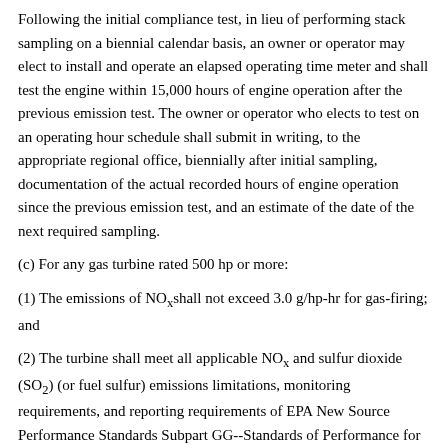Following the initial compliance test, in lieu of performing stack sampling on a biennial calendar basis, an owner or operator may elect to install and operate an elapsed operating time meter and shall test the engine within 15,000 hours of engine operation after the previous emission test. The owner or operator who elects to test on an operating hour schedule shall submit in writing, to the appropriate regional office, biennially after initial sampling, documentation of the actual recorded hours of engine operation since the previous emission test, and an estimate of the date of the next required sampling.
(c) For any gas turbine rated 500 hp or more:
(1) The emissions of NOx shall not exceed 3.0 g/hp-hr for gas-firing; and
(2) The turbine shall meet all applicable NOx and sulfur dioxide (SO2) (or fuel sulfur) emissions limitations, monitoring requirements, and reporting requirements of EPA New Source Performance Standards Subpart GG--Standards of Performance for Stationary Gas Turbines.
Turbine hp rating shall be based on turbine base load, fuel lower heating value, and International Standards Organization Standard Day